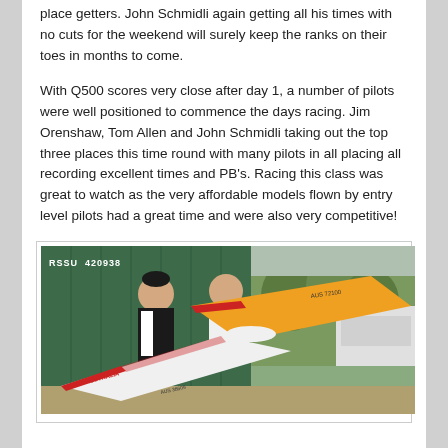place getters. John Schmidli again getting all his times with no cuts for the weekend will surely keep the ranks on their toes in months to come.
With Q500 scores very close after day 1, a number of pilots were well positioned to commence the days racing. Jim Orenshaw, Tom Allen and John Schmidli taking out the top three places this time round with many pilots in all placing all recording excellent times and PB's. Racing this class was great to watch as the very affordable models flown by entry level pilots had a great time and were also very competitive!
[Figure (photo): Two people standing outdoors holding model aircraft with 'AUSTRALIA' and 'AUS 38609' markings, in front of a green shipping container labeled 'RSSU 420938']